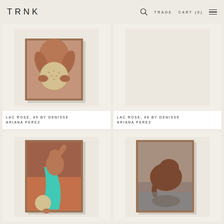TRNK | TRADE | CART (0)
[Figure (photo): Framed photograph artwork - Lac Rose #9 by Denisse Ariana Perez, showing a figure holding a sphere of grain/pearls against warm brown tones]
LAC ROSE, #9 BY DENISSE ARIANA PEREZ
[Figure (photo): Framed photograph artwork - Lac Rose #8 by Denisse Ariana Perez, right side, mostly empty white space visible]
LAC ROSE, #8 BY DENISSE ARIANA PEREZ
[Figure (photo): Framed photograph artwork showing a figure in teal/turquoise draped fabric bending down holding a sphere, against warm sunset tones]
[Figure (photo): Framed photograph artwork showing a figure curled/crouching near water with dark brown tones]